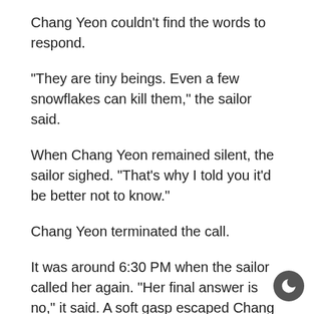Chang Yeon couldn't find the words to respond.
“They are tiny beings. Even a few snowflakes can kill them,” the sailor said.
When Chang Yeon remained silent, the sailor sighed. “That’s why I told you it’d be better not to know.”
Chang Yeon terminated the call.
It was around 6:30 PM when the sailor called her again. “Her final answer is no,” it said. A soft gasp escaped Chang Yeon’s mouth.
“She said she wouldn’t come,” the sailor continued on. “I apologize on behalf of the agency for this outcome. This is a few